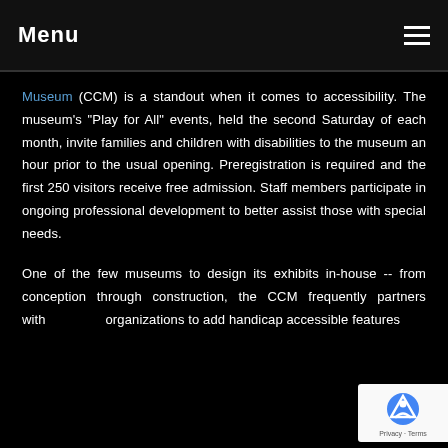Menu
Museum (CCM) is a standout when it comes to accessibility. The museum's "Play for All" events, held the second Saturday of each month, invite families and children with disabilities to the museum an hour prior to the usual opening. Preregistration is required and the first 250 visitors receive free admission. Staff members participate in ongoing professional development to better assist those with special needs.
One of the few museums to design its exhibits in-house -- from conception through constru[ction,] the CCM frequently partners with [disability] organizations to add handicap accessible features